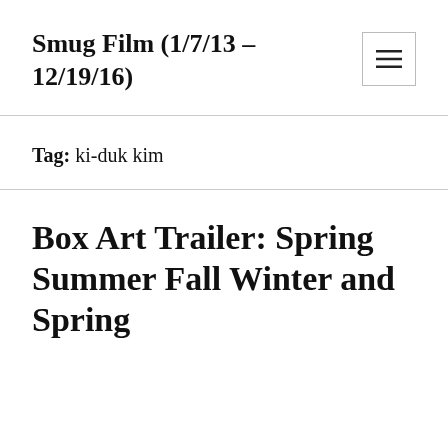Smug Film (1/7/13 – 12/19/16)
Tag: ki-duk kim
Box Art Trailer: Spring Summer Fall Winter and Spring